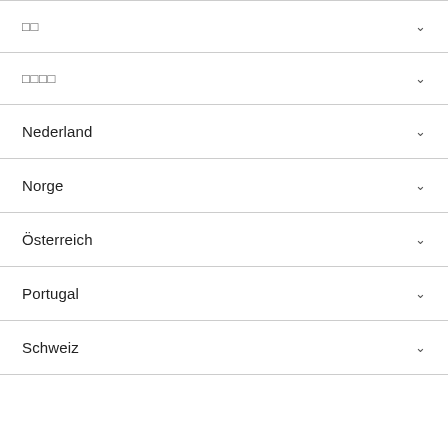□□
□□□□
Nederland
Norge
Österreich
Portugal
Schweiz